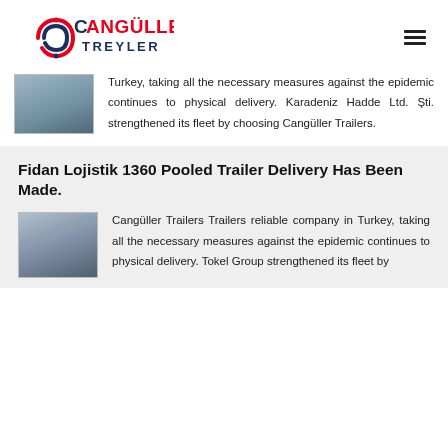CANGÜLLER TREYLER
Turkey, taking all the necessary measures against the epidemic continues to physical delivery. Karadeniz Hadde Ltd. Şti. strengthened its fleet by choosing Cangüller Trailers.
Fidan Lojistik 1360 Pooled Trailer Delivery Has Been Made.
Cangüller Trailers Trailers reliable company in Turkey, taking all the necessary measures against the epidemic continues to physical delivery. Tokel Group strengthened its fleet by